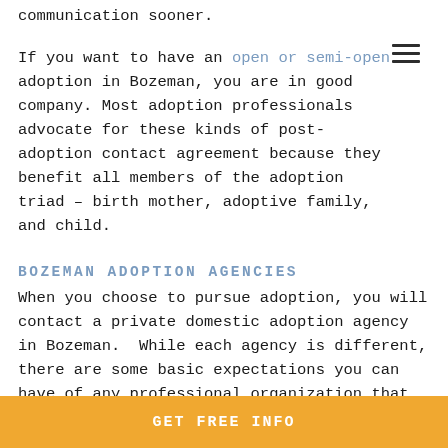communication sooner.

If you want to have an open or semi-open adoption in Bozeman, you are in good company. Most adoption professionals advocate for these kinds of post-adoption contact agreement because they benefit all members of the adoption triad – birth mother, adoptive family, and child.
BOZEMAN ADOPTION AGENCIES
When you choose to pursue adoption, you will contact a private domestic adoption agency in Bozeman.  While each agency is different, there are some basic expectations you can have of any professional organization that you work with. First, you should feel listened to, respected, and placed at the center of your adoption
GET FREE INFO